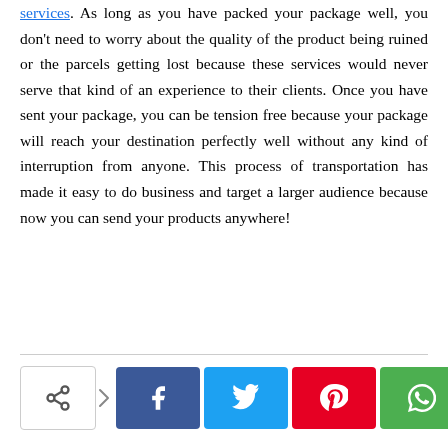services. As long as you have packed your package well, you don't need to worry about the quality of the product being ruined or the parcels getting lost because these services would never serve that kind of an experience to their clients. Once you have sent your package, you can be tension free because your package will reach your destination perfectly well without any kind of interruption from anyone. This process of transportation has made it easy to do business and target a larger audience because now you can send your products anywhere!
[Figure (infographic): Social sharing bar with a share button (generic icon with arrow), followed by Facebook, Twitter, Pinterest, and WhatsApp colored icon buttons]